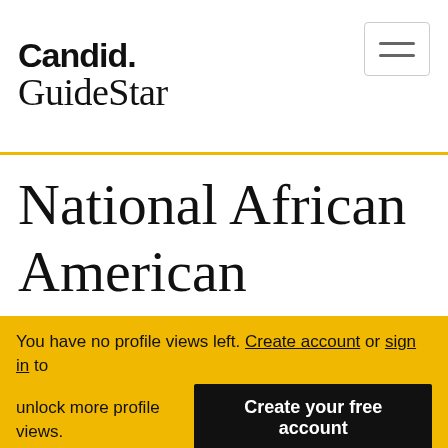Candid. GuideStar
National African American Leadership Summit Inc
You have no profile views left. Create account or sign in to unlock more profile views.
Create your free account